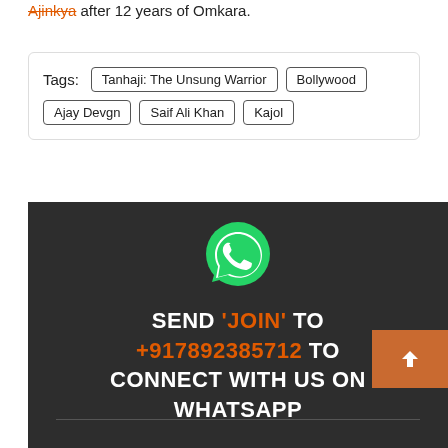after 12 years of Omkara.
Tags: Tanhaji: The Unsung Warrior | Bollywood | Ajay Devgn | Saif Ali Khan | Kajol
[Figure (infographic): WhatsApp promotional banner on dark background. WhatsApp logo at top, text reads: SEND 'JOIN' TO +917892385712 TO CONNECT WITH US ON WHATSAPP. Orange scroll-up button overlay at bottom right.]